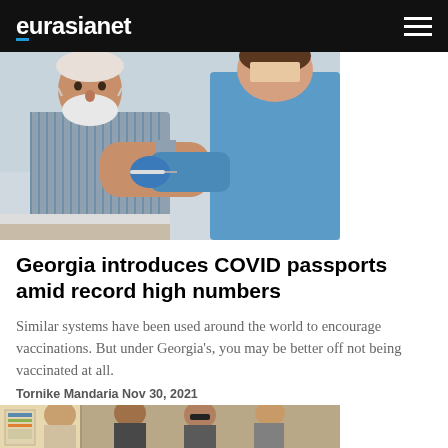eurasianet
[Figure (photo): An elderly man with a white beard and surgical mask receiving a vaccine injection in his arm from a healthcare worker in blue scrubs with blue gloves.]
Georgia introduces COVID passports amid record high numbers
Similar systems have been used around the world to encourage vaccinations. But under Georgia's, you may be better off not being vaccinated at all.
Tornike Mandaria Nov 30, 2021
[Figure (photo): A group of young men standing in what appears to be an indoor setting, partially cropped at the bottom of the page.]